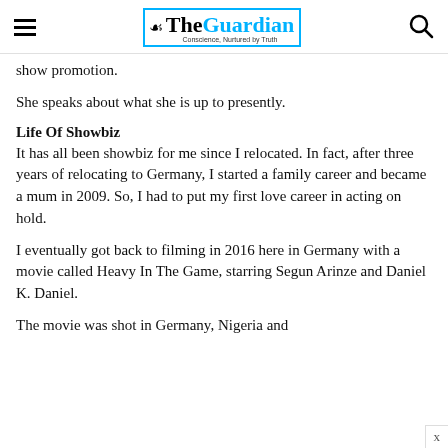The Guardian
show promotion.
She speaks about what she is up to presently.
Life Of Showbiz
It has all been showbiz for me since I relocated. In fact, after three years of relocating to Germany, I started a family career and became a mum in 2009. So, I had to put my first love career in acting on hold.
I eventually got back to filming in 2016 here in Germany with a movie called Heavy In The Game, starring Segun Arinze and Daniel K. Daniel.
The movie was shot in Germany, Nigeria and